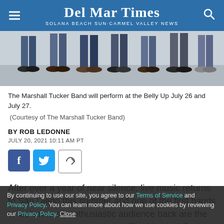Del Mar Times — Solana Beach Sun·Carmel Valley News
[Figure (photo): Photo of several people standing, showing only their legs and feet, wearing jeans and various shoes on a concrete/asphalt surface.]
The Marshall Tucker Band will perform at the Belly Up July 26 and July 27.
(Courtesy of The Marshall Tucker Band)
BY ROB LEDONNE
JULY 20, 2021 10:11 AM PT
[Figure (other): Social sharing buttons: Facebook, Twitter, and a general share icon]
After over a year of near silence, live music returns to San Diego this summer and one of the first bands to welcome an enthusiastic audience back are the veteran rockers who make up The Marshall Tucker Band.
By continuing to use our site, you agree to our Terms of Service and Privacy Policy. You can learn more about how we use cookies by reviewing our Privacy Policy. Close